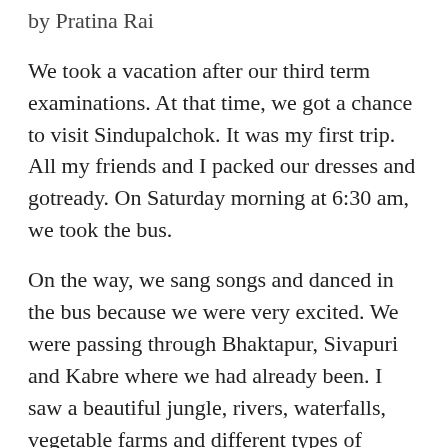by Pratina Rai
We took a vacation after our third term examinations. At that time, we got a chance to visit Sindupalchok. It was my first trip. All my friends and I packed our dresses and gotready. On Saturday morning at 6:30 am, we took the bus.
On the way, we sang songs and danced in the bus because we were very excited. We were passing through Bhaktapur, Sivapuri and Kabre where we had already been. I saw a beautiful jungle, rivers, waterfalls, vegetable farms and different types of houses. We stopped by the Melamchi River for lunch. Then we continued our journey. In some places the roads were very narrow and steep, so we were afraid. The closer were got to our destination, the more excited we were.